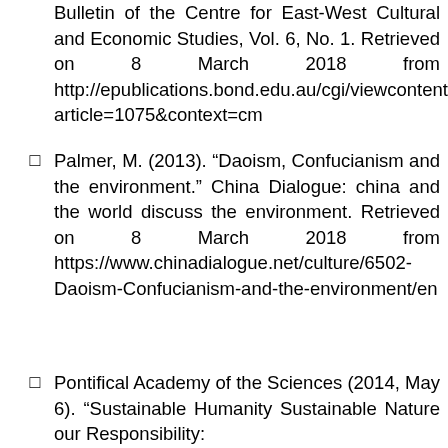Bulletin of the Centre for East-West Cultural and Economic Studies, Vol. 6, No. 1. Retrieved on 8 March 2018 from http://epublications.bond.edu.au/cgi/viewcontent.cgi?article=1075&context=cm
Palmer, M. (2013). "Daoism, Confucianism and the environment." China Dialogue: china and the world discuss the environment. Retrieved on 8 March 2018 from https://www.chinadialogue.net/culture/6502-Daoism-Confucianism-and-the-environment/en
Pontifical Academy of the Sciences (2014, May 6). "Sustainable Humanity Sustainable Nature our Responsibility: